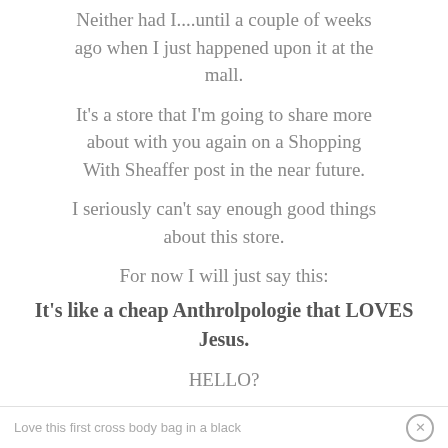Neither had I....until a couple of weeks ago when I just happened upon it at the mall.
It's a store that I'm going to share more about with you again on a Shopping With Sheaffer post in the near future.
I seriously can't say enough good things about this store.
For now I will just say this:
It's like a cheap Anthrolpologie that LOVES Jesus.
HELLO?
Awesomeness.
Love this first cross body bag in a black ×